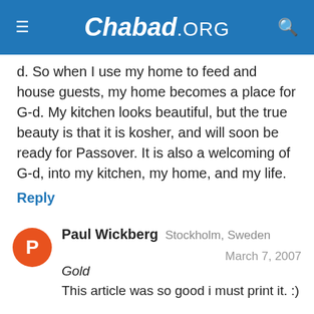Chabad.ORG
d. So when I use my home to feed and house guests, my home becomes a place for G-d. My kitchen looks beautiful, but the true beauty is that it is kosher, and will soon be ready for Passover. It is also a welcoming of G-d, into my kitchen, my home, and my life.
Reply
Paul Wickberg  Stockholm, Sweden  March 7, 2007
Gold
This article was so good i must print it. :)

More articles like this one please...
Reply